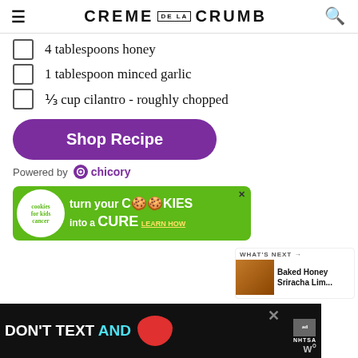CREME DE LA CRUMB
4 tablespoons honey
1 tablespoon minced garlic
⅓ cup cilantro - roughly chopped
Shop Recipe
Powered by chicory
[Figure (infographic): Cookies for Kids Cancer advertisement banner: green background with cookies logo and text 'turn your COOKIES into a CURE LEARN HOW']
[Figure (infographic): WHAT'S NEXT panel: Baked Honey Sriracha Lim...]
[Figure (infographic): Bottom advertisement banner: black background with text DON'T TEXT AND, car image, NHTSA branding]